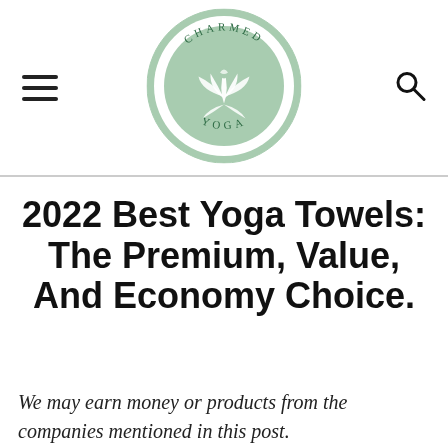[Figure (logo): Charmed Yoga circular logo with lotus flower and text 'CHARMED YOGA' around the border, green/mint color scheme]
2022 Best Yoga Towels: The Premium, Value, And Economy Choice.
We may earn money or products from the companies mentioned in this post.